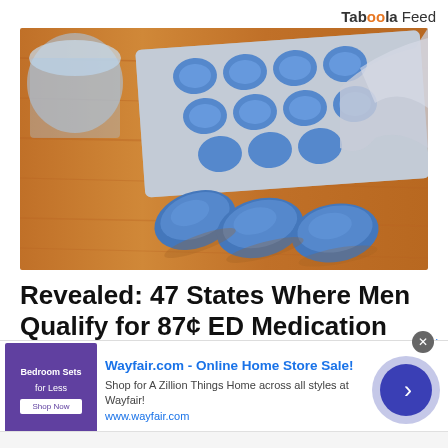Taboola Feed
[Figure (photo): Close-up photo of blue oval pills/tablets on a wooden surface, with a blister pack of blue pills in the background and a glass of water partially visible]
Revealed: 47 States Where Men Qualify for 87¢ ED Medication
Public Health Forum by Friday Plans
[Figure (screenshot): Wayfair advertisement banner: 'Wayfair.com - Online Home Store Sale! Shop for A Zillion Things Home across all styles at Wayfair! www.wayfair.com' with a purple bedroom image and a blue arrow button]